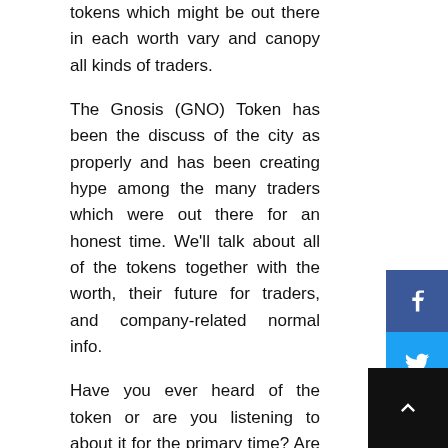tokens which might be out there in each worth vary and canopy all kinds of traders.
The Gnosis (GNO) Token has been the discuss of the city as properly and has been creating hype among the many traders which were out there for an honest time. We'll talk about all of the tokens together with the worth, their future for traders, and company-related normal info.
Have you ever heard of the token or are you listening to about it for the primary time? Are you conscious of the present developments surrounding the token? Properly, we're on it. Let's get began.